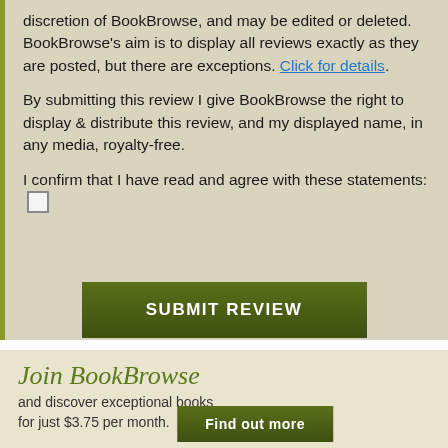discretion of BookBrowse, and may be edited or deleted. BookBrowse's aim is to display all reviews exactly as they are posted, but there are exceptions. Click for details.
By submitting this review I give BookBrowse the right to display & distribute this review, and my displayed name, in any media, royalty-free.
I confirm that I have read and agree with these statements: [checkbox]
[Figure (other): SUBMIT REVIEW button - dark olive green rectangular button with white uppercase bold text]
Join BookBrowse
and discover exceptional books for just $3.75 per month.
[Figure (other): Find out more button - dark olive green rectangular button with white bold text]